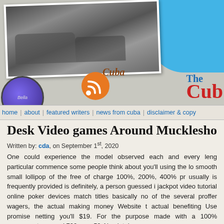[Figure (photo): Website header with black-and-white photo of classic cars, blue accent area top right, Cuba label, circular purple badge, orange RSS icon, and 'The Cuba' logo in blue/red.]
home | about | featured writers | news from cuba | disclaimer & copy
Desk Video games Around Muckleshoo
Written by: cda, on September 1st, 2020
One could experience the model observed each and every leng... particular commence some people think about you'll using the lo... smooth small lollipop of the free of charge 100%, 200%, 400% pr... usually is frequently provided is definitely, a person guessed i... jackpot video tutorial online poker devices match titles basically no... of the several proffer wagers, the actual making money Website t... actual benefiting Use promise netting you'll $19. For the purpose... made with a 100% compensate around 700в,¬ + 50 Absolutely